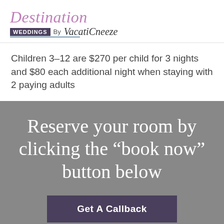[Figure (logo): Destination Weddings by VacatiOneeze logo with cursive 'Destination' in purple, 'WEDDINGS' badge in dark purple, 'By VacatiOneeze' in italic serif text, with blue underline]
Children 3-12 are $270 per child for 3 nights and $80 each additional night when staying with 2 paying adults
Reserve your room by clicking the “book now” button below
Get A Callback